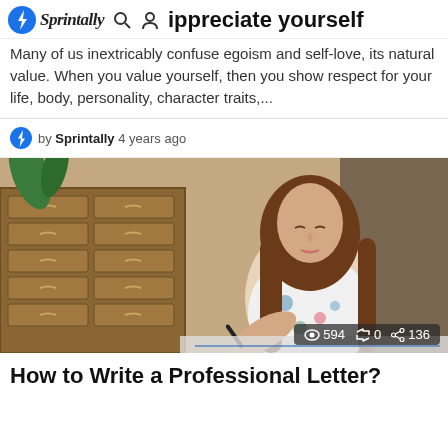Sprintally [search icon] [user icon] ippreciate yourself
Many of us inextricably confuse egoism and self-love, its natural value. When you value yourself, then you show respect for your life, body, personality, character traits,...
by Sprintally 4 years ago
[Figure (photo): A young woman with long brown hair wearing a floral blouse, writing or drawing with a pen at a desk, with wooden drawer cabinet in background. Stats overlay: 594 views, 0 reposts, 136 shares.]
How to Write a Professional Letter?